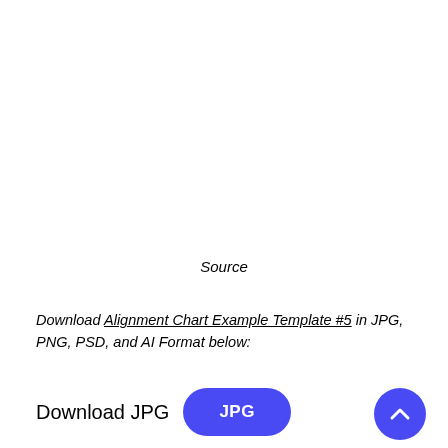Source
Download Alignment Chart Example Template #5 in JPG, PNG, PSD, and AI Format below:
Download JPG
[Figure (other): Blue rounded rectangle button labeled JPG]
[Figure (other): Blue circular scroll-to-top button with upward chevron arrow]